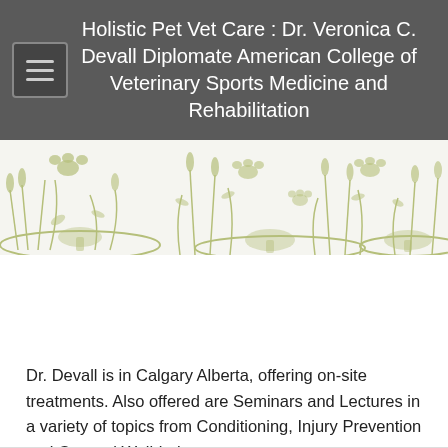Holistic Pet Vet Care : Dr. Veronica C. Devall Diplomate American College of Veterinary Sports Medicine and Rehabilitation
[Figure (illustration): Decorative banner with olive-green line art of grass, cattails, mushrooms, and paw prints on a light background]
Dr. Devall is in Calgary Alberta, offering on-site treatments. Also offered are Seminars and Lectures in a variety of topics from Conditioning, Injury Prevention and General Well-being.